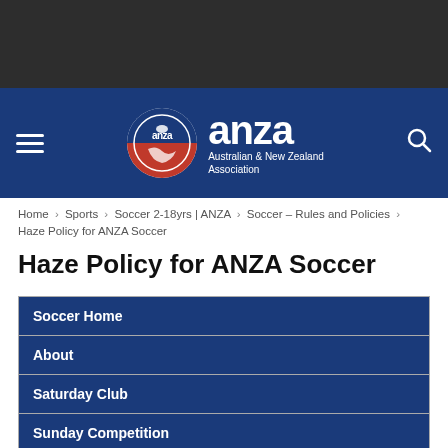[Figure (logo): ANZA (Australian & New Zealand Association) logo with circular emblem featuring a kangaroo, displayed on a dark navy blue navigation header bar. Includes hamburger menu icon on left and search icon on right.]
Home › Sports › Soccer 2-18yrs | ANZA › Soccer – Rules and Policies › Haze Policy for ANZA Soccer
Haze Policy for ANZA Soccer
Soccer Home
About
Saturday Club
Sunday Competition
Rules and Policies